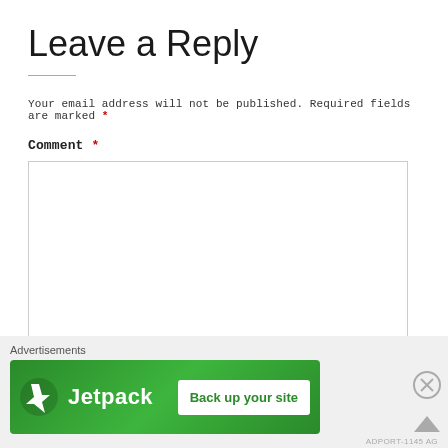Leave a Reply
Your email address will not be published. Required fields are marked *
Comment *
[Figure (screenshot): Empty comment text area input box with gray border]
Advertisements
[Figure (infographic): Jetpack advertisement banner with green background, Jetpack logo and lightning bolt icon on left, and 'Back up your site' white button on right]